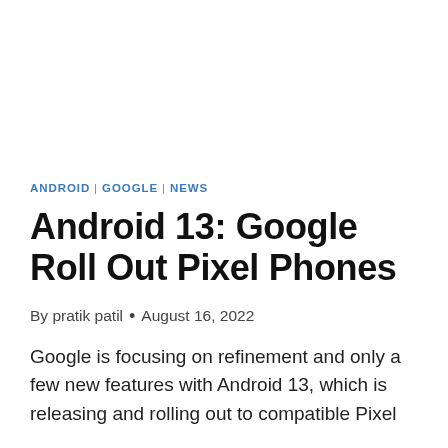ANDROID | GOOGLE | NEWS
Android 13: Google Roll Out Pixel Phones
By pratik patil • August 16, 2022
Google is focusing on refinement and only a few new features with Android 13, which is releasing and rolling out to compatible Pixel